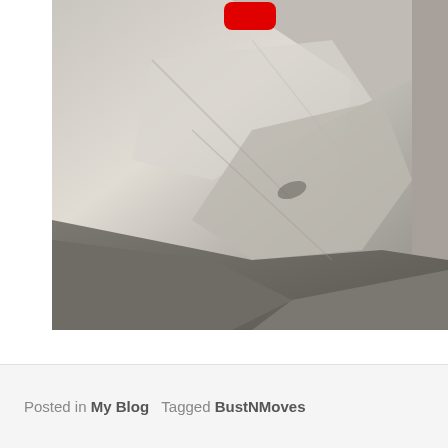[Figure (photo): A blurry photo of rumpled gray fabric or bedding. A red rounded-rectangle play button icon is visible at the top center of the image, suggesting it is a video thumbnail.]
Posted in My Blog   Tagged BustNMoves